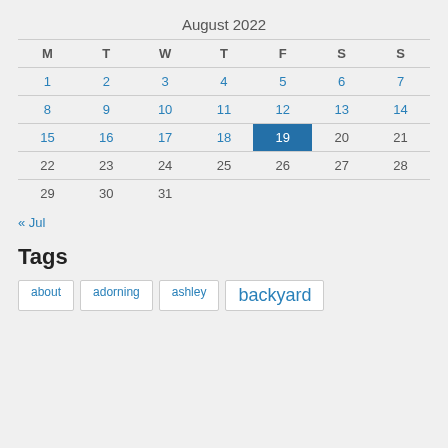August 2022
| M | T | W | T | F | S | S |
| --- | --- | --- | --- | --- | --- | --- |
| 1 | 2 | 3 | 4 | 5 | 6 | 7 |
| 8 | 9 | 10 | 11 | 12 | 13 | 14 |
| 15 | 16 | 17 | 18 | 19 | 20 | 21 |
| 22 | 23 | 24 | 25 | 26 | 27 | 28 |
| 29 | 30 | 31 |  |  |  |  |
« Jul
Tags
about
adorning
ashley
backyard